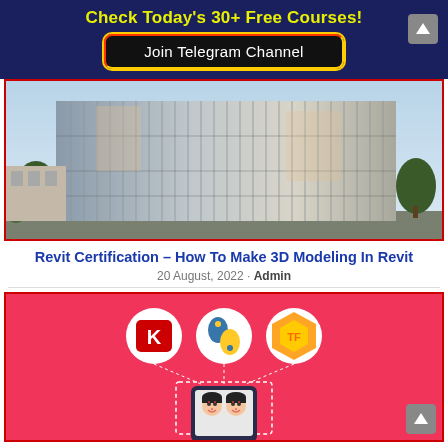Check Today's 30+ Free Courses!
Join Telegram Channel
[Figure (photo): Exterior photo of a modern multi-story building with metallic facade and vertical louvers, surrounded by trees and a driveway, under a blue sky.]
Revit Certification – How To Make 3D Modeling In Revit
20 August, 2022 · Admin
[Figure (illustration): Pink/red background infographic showing three circular logos (Keras K in red, Python logo, TensorFlow logo) floating above a smartphone displaying face recognition with two illustrated female faces side by side.]